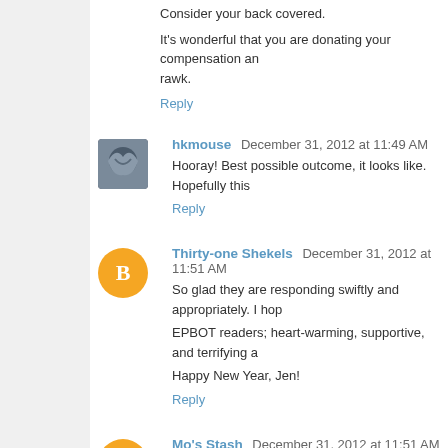Consider your back covered.
It's wonderful that you are donating your compensation an... rawk.
Reply
hkmouse  December 31, 2012 at 11:49 AM
Hooray! Best possible outcome, it looks like. Hopefully this ...
Reply
Thirty-one Shekels  December 31, 2012 at 11:51 AM
So glad they are responding swiftly and appropriately. I hop...
EPBOT readers; heart-warming, supportive, and terrifying a...
Happy New Year, Jen!
Reply
Mo's Stash  December 31, 2012 at 11:51 AM
Yay!!!!! Go Jen. I hope she asks you to write the article abo...
Reply